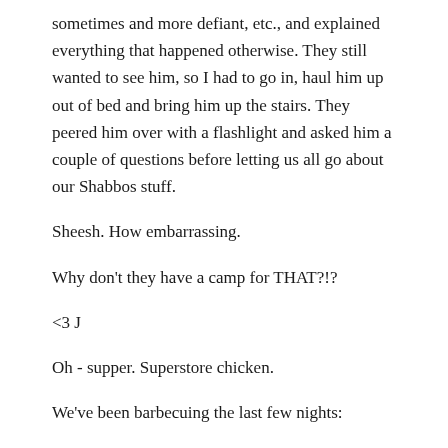sometimes and more defiant, etc., and explained everything that happened otherwise. They still wanted to see him, so I had to go in, haul him up out of bed and bring him up the stairs. They peered him over with a flashlight and asked him a couple of questions before letting us all go about our Shabbos stuff.
Sheesh. How embarrassing.
Why don't they have a camp for THAT?!?
<3 J
Oh - supper. Superstore chicken.
We've been barbecuing the last few nights: